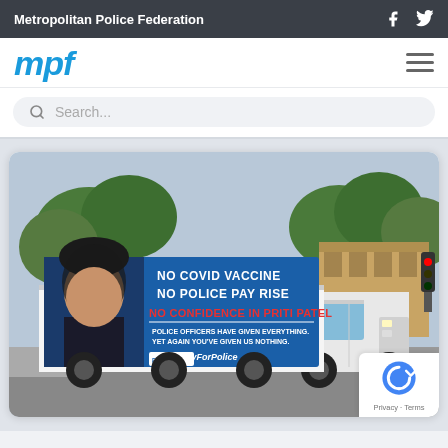Metropolitan Police Federation
[Figure (logo): MPF (Metropolitan Police Federation) logo in blue italic bold text]
[Figure (photo): A truck with a large billboard on its side parked on a London street. The billboard shows a photo of Priti Patel and text reading: NO COVID VACCINE / NO POLICE PAY RISE / NO CONFIDENCE IN PRITI PATEL / POLICE OFFICERS HAVE GIVEN EVERYTHING. YET AGAIN YOU'VE GIVEN US NOTHING. / #FairPayForPolice / Police Federation logo. Trees and a historic building are visible in the background.]